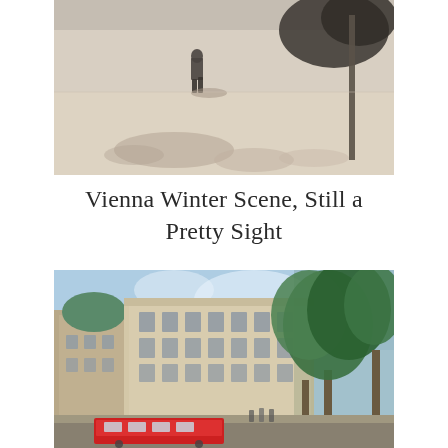[Figure (photo): A sepia-toned winter street scene in Vienna showing a person walking on a snowy sidewalk with a bare tree and lamp post visible in the background.]
Vienna Winter Scene, Still a Pretty Sight
[Figure (photo): A bright summer photograph of a Vienna street showing grand historical beige buildings with classical architecture, large green trees, and a red tram visible at street level under a blue sky.]